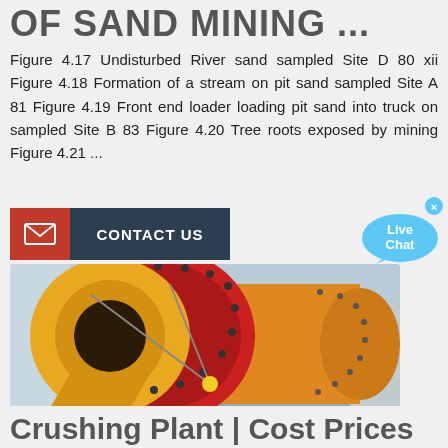OF SAND MINING ...
Figure 4.17 Undisturbed River sand sampled Site D 80 xii Figure 4.18 Formation of a stream on pit sand sampled Site A 81 Figure 4.19 Front end loader loading pit sand into truck on sampled Site B 83 Figure 4.20 Tree roots exposed by mining Figure 4.21 ...
[Figure (other): Contact Us button with red mail icon and dark background]
[Figure (other): Live Chat speech bubble icon]
[Figure (photo): Large industrial ball mill machine in yellow and red, being rigged with cables, in an outdoor industrial setting]
Crushing Plant | Cost Prices ...